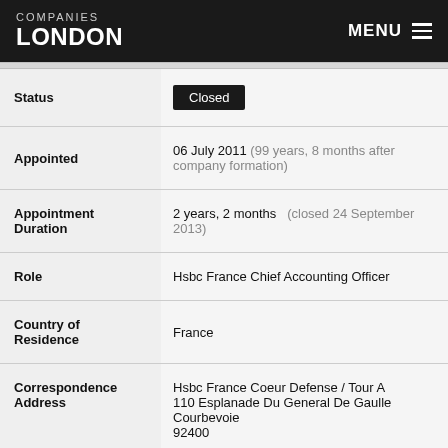COMPANIES LONDON — MENU
| Field | Value |
| --- | --- |
| Status | Closed |
| Appointed | 06 July 2011 (99 years, 8 months after company formation) |
| Appointment Duration | 2 years, 2 months  (closed 24 September 2013) |
| Role | Hsbc France Chief Accounting Officer |
| Country of Residence | France |
| Correspondence Address | Hsbc France Coeur Defense / Tour A 110 Esplanade Du General De Gaulle Courbevoie 92400 |